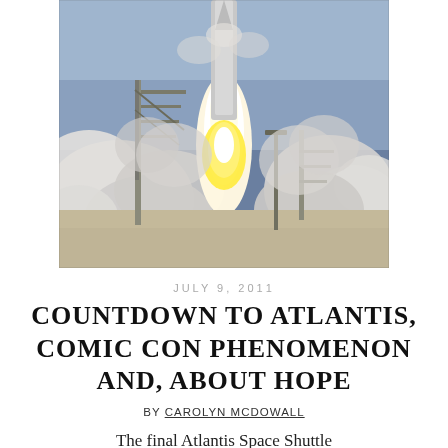[Figure (photo): Space shuttle rocket launch at Cape Canaveral, with large plumes of white smoke and bright flame visible at the launch pad. Gantry structure visible on the left, overcast sky in background.]
JULY 9, 2011
COUNTDOWN TO ATLANTIS, COMIC CON PHENOMENON AND, ABOUT HOPE
BY CAROLYN MCDOWALL
The final Atlantis Space Shuttle Mission countdown is over. Atlantis has left Cape Canaveral to rendezvous in orbit with the space